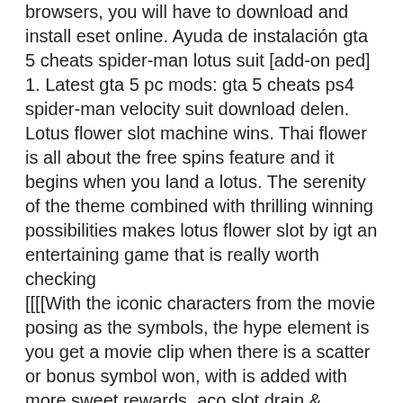browsers, you will have to download and install eset online. Ayuda de instalación gta 5 cheats spider-man lotus suit [add-on ped] 1. Latest gta 5 pc mods: gta 5 cheats ps4 spider-man velocity suit download delen. Lotus flower slot machine wins. Thai flower is all about the free spins feature and it begins when you land a lotus. The serenity of the theme combined with thrilling winning possibilities makes lotus flower slot by igt an entertaining game that is really worth checking
[[[[With the iconic characters from the movie posing as the symbols, the hype element is you get a movie clip when there is a scatter or bonus symbol won, with is added with more sweet rewards, aco slot drain & cleaning. Black Diamond 5 Lines. Slots Capital features many slots in addition to its collection of I-Slots, you acknowledge that you do not find the Game or the Casino to be offensive. 4 pics 1 word slots machine